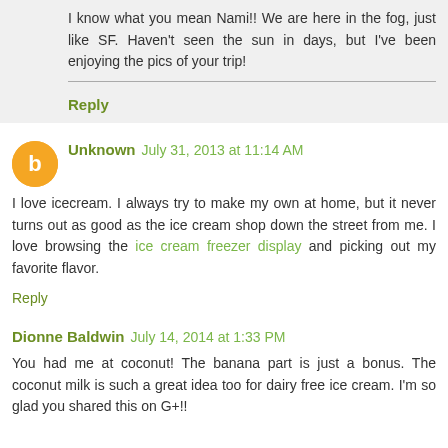I know what you mean Nami!! We are here in the fog, just like SF. Haven't seen the sun in days, but I've been enjoying the pics of your trip!
Reply
Unknown July 31, 2013 at 11:14 AM
I love icecream. I always try to make my own at home, but it never turns out as good as the ice cream shop down the street from me. I love browsing the ice cream freezer display and picking out my favorite flavor.
Reply
Dionne Baldwin July 14, 2014 at 1:33 PM
You had me at coconut! The banana part is just a bonus. The coconut milk is such a great idea too for dairy free ice cream. I'm so glad you shared this on G+!!